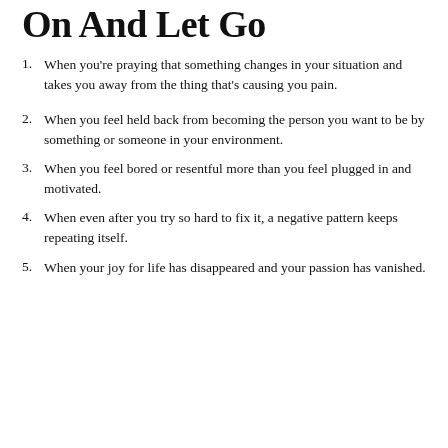On And Let Go
When you're praying that something changes in your situation and takes you away from the thing that's causing you pain.
When you feel held back from becoming the person you want to be by something or someone in your environment.
When you feel bored or resentful more than you feel plugged in and motivated.
When even after you try so hard to fix it, a negative pattern keeps repeating itself.
When your joy for life has disappeared and your passion has vanished.